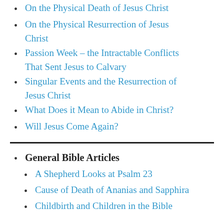On the Physical Death of Jesus Christ
On the Physical Resurrection of Jesus Christ
Passion Week – the Intractable Conflicts That Sent Jesus to Calvary
Singular Events and the Resurrection of Jesus Christ
What Does it Mean to Abide in Christ?
Will Jesus Come Again?
General Bible Articles
A Shepherd Looks at Psalm 23
Cause of Death of Ananias and Sapphira
Childbirth and Children in the Bible